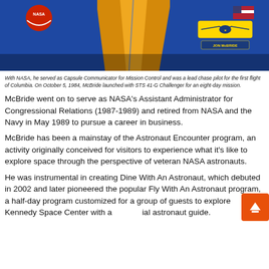[Figure (photo): Close-up photo of a person wearing a blue NASA flight jacket with patches including a NASA logo patch, a name tag reading 'Jon McBride', pilot wings badge, and an American flag patch on the sleeve.]
With NASA, he served as Capsule Communicator for Mission Control and was a lead chase pilot for the first flight of Columbia. On October 5, 1984, McBride launched with STS 41-G Challenger for an eight-day mission.
McBride went on to serve as NASA's Assistant Administrator for Congressional Relations (1987-1989) and retired from NASA and the Navy in May 1989 to pursue a career in business.
McBride has been a mainstay of the Astronaut Encounter program, an activity originally conceived for visitors to experience what it's like to explore space through the perspective of veteran NASA astronauts.
He was instrumental in creating Dine With An Astronaut, which debuted in 2002 and later pioneered the popular Fly With An Astronaut program, a half-day program customized for a group of guests to explore Kennedy Space Center with a special astronaut guide.